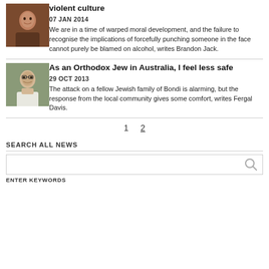[Figure (photo): Person thumbnail image for first article]
violent culture
07 JAN 2014
We are in a time of warped moral development, and the failure to recognise the implications of forcefully punching someone in the face cannot purely be blamed on alcohol, writes Brandon Jack.
[Figure (photo): Person thumbnail image for second article - man with glasses outdoors]
As an Orthodox Jew in Australia, I feel less safe
29 OCT 2013
The attack on a fellow Jewish family of Bondi is alarming, but the response from the local community gives some comfort, writes Fergal Davis.
1  2
SEARCH ALL NEWS
ENTER KEYWORDS